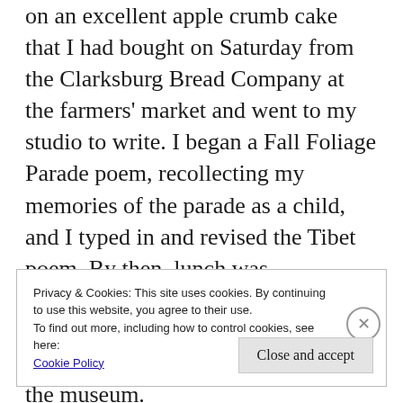on an excellent apple crumb cake that I had bought on Saturday from the Clarksburg Bread Company at the farmers' market and went to my studio to write. I began a Fall Foliage Parade poem, recollecting my memories of the parade as a child, and I typed in and revised the Tibet poem. By then, lunch was approaching, so I decided to go down early to make some notes for a planned poem on local supporters of the museum.
Privacy & Cookies: This site uses cookies. By continuing to use this website, you agree to their use.
To find out more, including how to control cookies, see here:
Cookie Policy
Close and accept